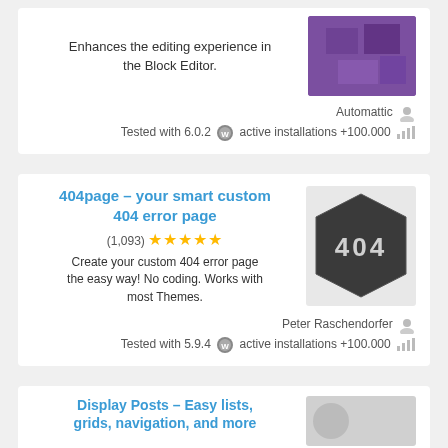Enhances the editing experience in the Block Editor.
Automattic  Tested with 6.0.2  active installations +100.000
404page – your smart custom 404 error page
(1,093) ★★★★★
Create your custom 404 error page the easy way! No coding. Works with most Themes.
Peter Raschendorfer  Tested with 5.9.4  active installations +100.000
Display Posts – Easy lists, grids, navigation, and more